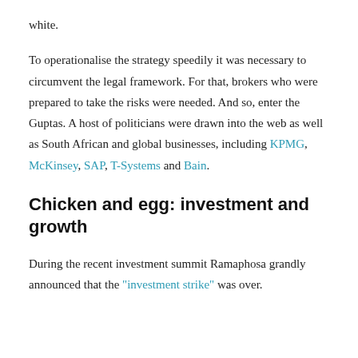white.
To operationalise the strategy speedily it was necessary to circumvent the legal framework. For that, brokers who were prepared to take the risks were needed. And so, enter the Guptas. A host of politicians were drawn into the web as well as South African and global businesses, including KPMG, McKinsey, SAP, T-Systems and Bain.
Chicken and egg: investment and growth
During the recent investment summit Ramaphosa grandly announced that the “investment strike” was over.